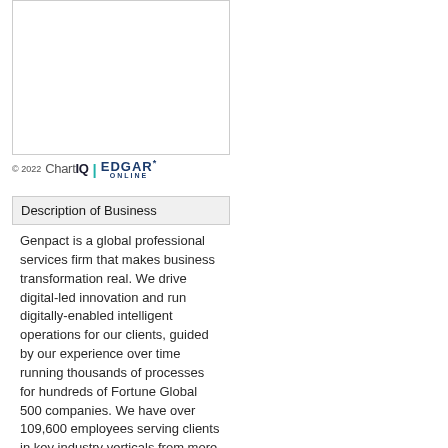[Figure (other): Empty chart placeholder box with border]
© 2022 ChartIQ EDGAR* ONLINE
Description of Business
Genpact is a global professional services firm that makes business transformation real. We drive digital-led innovation and run digitally-enabled intelligent operations for our clients, guided by our experience over time running thousands of processes for hundreds of Fortune Global 500 companies. We have over 109,600 employees serving clients in key industry verticals from more